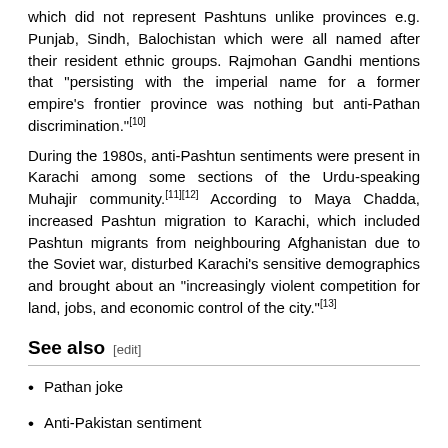which did not represent Pashtuns unlike provinces e.g. Punjab, Sindh, Balochistan which were all named after their resident ethnic groups. Rajmohan Gandhi mentions that "persisting with the imperial name for a former empire's frontier province was nothing but anti-Pathan discrimination."[10]
During the 1980s, anti-Pashtun sentiments were present in Karachi among some sections of the Urdu-speaking Muhajir community.[11][12] According to Maya Chadda, increased Pashtun migration to Karachi, which included Pashtun migrants from neighbouring Afghanistan due to the Soviet war, disturbed Karachi's sensitive demographics and brought about an "increasingly violent competition for land, jobs, and economic control of the city."[13]
See also [edit]
Pathan joke
Anti-Pakistan sentiment
List of anti-cultural, anti-national, and anti-ethnic topics